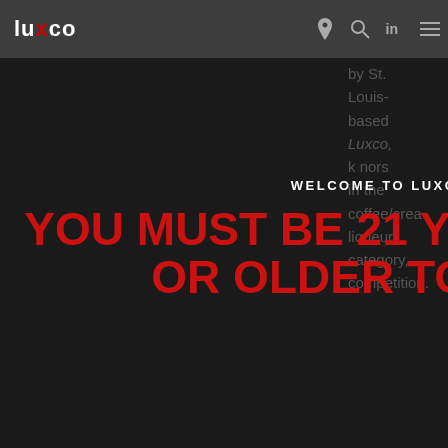luxco
WELCOME TO LUXCO
YOU MUST BE 21 YEARS OF AGE OR OLDER TO ENTER
Month
1-12
Day
1-31
Year
XXXX
ENTER
by St. Louis-based Luxco, k nors in the coffee/cream/da liqueur category, competition.